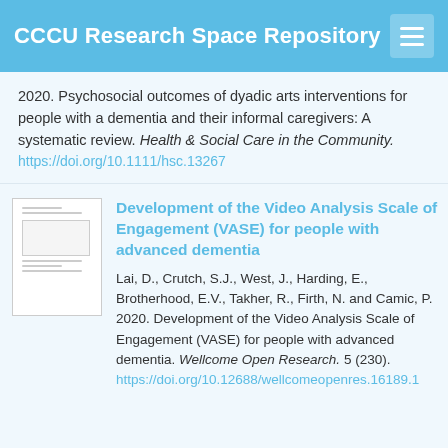CCCU Research Space Repository
2020. Psychosocial outcomes of dyadic arts interventions for people with a dementia and their informal caregivers: A systematic review. Health & Social Care in the Community. https://doi.org/10.1111/hsc.13267
[Figure (other): Thumbnail image of a document page]
Development of the Video Analysis Scale of Engagement (VASE) for people with advanced dementia
Lai, D., Crutch, S.J., West, J., Harding, E., Brotherhood, E.V., Takher, R., Firth, N. and Camic, P. 2020. Development of the Video Analysis Scale of Engagement (VASE) for people with advanced dementia. Wellcome Open Research. 5 (230). https://doi.org/10.12688/wellcomeopenres.16189.1